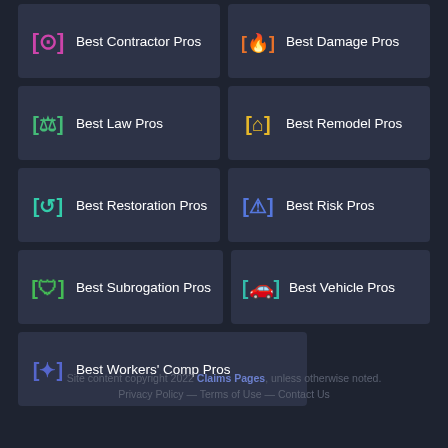[Figure (logo): Best Contractor Pros icon - pink bracket icon]
Best Contractor Pros
[Figure (logo): Best Damage Pros icon - orange fire/water icon]
Best Damage Pros
[Figure (logo): Best Law Pros icon - green scales icon]
Best Law Pros
[Figure (logo): Best Remodel Pros icon - yellow house icon]
Best Remodel Pros
[Figure (logo): Best Restoration Pros icon - teal/green icon]
Best Restoration Pros
[Figure (logo): Best Risk Pros icon - blue icon]
Best Risk Pros
[Figure (logo): Best Subrogation Pros icon - green shield icon]
Best Subrogation Pros
[Figure (logo): Best Vehicle Pros icon - teal car icon]
Best Vehicle Pros
[Figure (logo): Best Workers' Comp Pros icon - blue/purple icon]
Best Workers' Comp Pros
Site content copyright 2022 Claims Pages, unless otherwise noted. Privacy Policy — Terms of Use — Contact Us